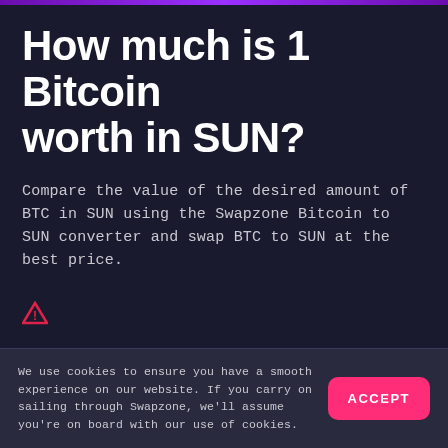How much is 1 Bitcoin worth in SUN?
Compare the value of the desired amount of BTC in SUN using the Swapzone Bitcoin to SUN converter and swap BTC to SUN at the best price.
[Figure (other): Warning triangle icon in pink/red color]
Please be aware that some of the listed services may perform AML/KYC procedures to prevent criminal activity. Remember that it is the user's responsibility to conduct due diligence prior to proceeding with an exchange deal. Swapzone cannot be held
We use cookies to ensure you have a smooth experience on our website. If you carry on sailing through Swapzone, we'll assume you're on board with our use of cookies. ACCEPT